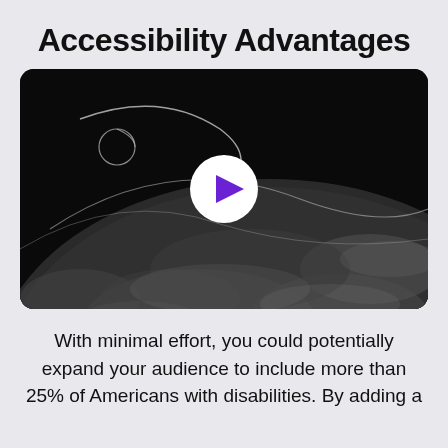Accessibility Advantages
[Figure (screenshot): A grayscale video thumbnail showing a view of Earth from space with cloud formations and a glowing arc trajectory, overlaid with a white circular play button with a purple triangle pointing right.]
With minimal effort, you could potentially expand your audience to include more than 25% of Americans with disabilities. By adding a